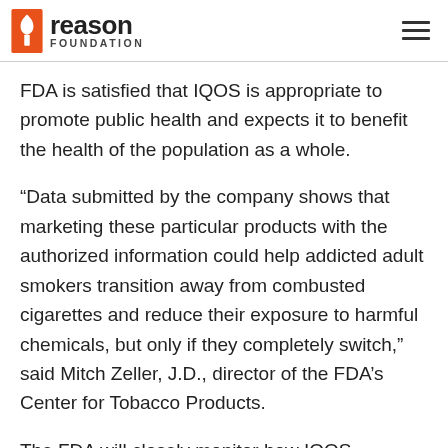reason FOUNDATION
FDA is satisfied that IQOS is appropriate to promote public health and expects it to benefit the health of the population as a whole.
“Data submitted by the company shows that marketing these particular products with the authorized information could help addicted adult smokers transition away from combusted cigarettes and reduce their exposure to harmful chemicals, but only if they completely switch,” said Mitch Zeller, J.D., director of the FDA’s Center for Tobacco Products.
The FDA will closely monitor how IQOS performs to ensure youth don’t begin using the product